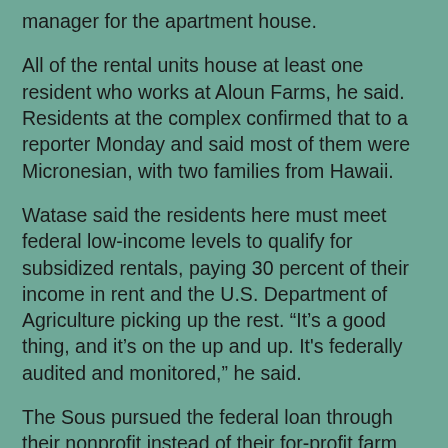manager for the apartment house.
All of the rental units house at least one resident who works at Aloun Farms, he said. Residents at the complex confirmed that to a reporter Monday and said most of them were Micronesian, with two families from Hawaii.
Watase said the residents here must meet federal low-income levels to qualify for subsidized rentals, paying 30 percent of their income in rent and the U.S. Department of Agriculture picking up the rest. “It’s a good thing, and it’s on the up and up. It's federally audited and monitored,” he said.
The Sous pursued the federal loan through their nonprofit instead of their for-profit farm because non-profits have a "better chance" of winning help from the federal government, Watase said.
He said in the nearly two years he has managed the property, only employees from Aloun Farms have been tenants there, but they’ve “tried to reach out to employees of other farms."